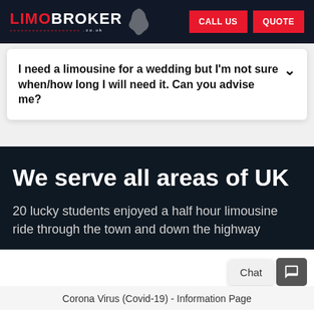LIMOBROKER .co.uk | CALL US | QUOTE
I need a limousine for a wedding but I'm not sure when/how long I will need it. Can you advise me?
We serve all areas of UK
20 lucky students enjoyed a half hour limousine ride through the town and down the highway
Corona Virus (Covid-19) - Information Page